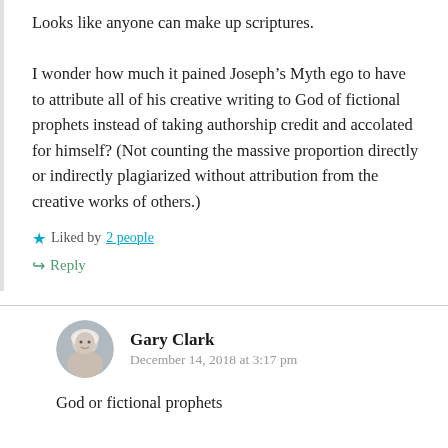Looks like anyone can make up scriptures.

I wonder how much it pained Joseph’s Myth ego to have to attribute all of his creative writing to God of fictional prophets instead of taking authorship credit and accolated for himself? (Not counting the massive proportion directly or indirectly plagiarized without attribution from the creative works of others.)
Liked by 2 people
Reply
Gary Clark
December 14, 2018 at 3:17 pm
God or fictional prophets